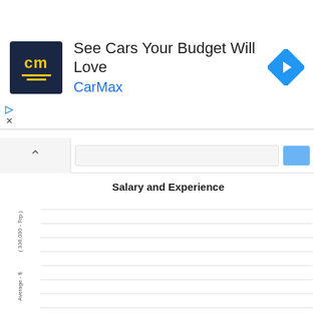[Figure (screenshot): CarMax advertisement banner with logo, headline 'See Cars Your Budget Will Love', brand name 'CarMax' in blue, and a navigation arrow icon]
[Figure (screenshot): Browser navigation bar with back button (chevron up), URL bar, and blue button]
Salary and Experience
[Figure (bar-chart): Partially visible bar chart titled 'Salary and Experience' with y-axis labels '( 336,030 - Top )' and 'Average - $', chart area shows horizontal gridlines but bars are cut off]